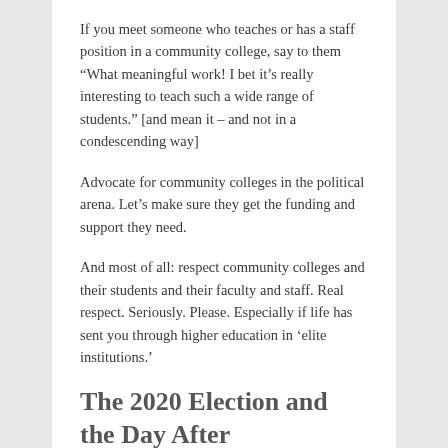If you meet someone who teaches or has a staff position in a community college, say to them “What meaningful work! I bet it’s really interesting to teach such a wide range of students.” [and mean it – and not in a condescending way]
Advocate for community colleges in the political arena. Let’s make sure they get the funding and support they need.
And most of all: respect community colleges and their students and their faculty and staff. Real respect. Seriously. Please. Especially if life has sent you through higher education in ‘elite institutions.’
Because few things are more contemptible than privilege having contempt for gritty, real, human, everyday, beautiful effort.
The 2020 Election and the Day After
NOVEMBER 4, 2020